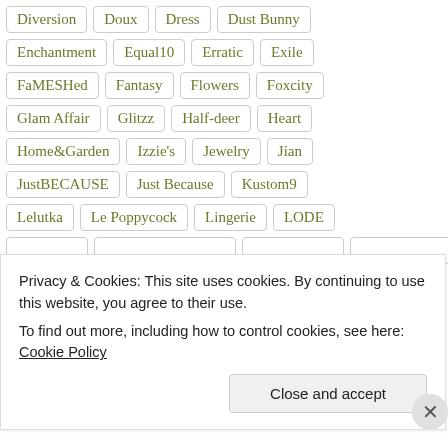Diversion, Doux, Dress, Dust Bunny
Enchantment, Equal10, Erratic, Exile
FaMESHed, Fantasy, Flowers, Foxcity
Glam Affair, Glitzz, Half-deer, Heart
Home&Garden, Izzie's, Jewelry, Jian
JustBECAUSE, Just Because, Kustom9
Lelutka, Le Poppycock, Lingerie, LODE
Privacy & Cookies: This site uses cookies. By continuing to use this website, you agree to their use.
To find out more, including how to control cookies, see here: Cookie Policy
Close and accept